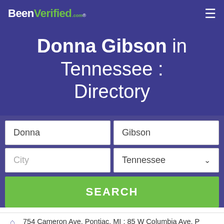BeenVerified.com
Donna Gibson in Tennessee : Directory
Donna | Gibson
City | Tennessee
SEARCH
754 Cameron Ave, Pontiac, MI ; 85 W Columbia Ave, P
Lee Alice Gibson, Frank J Moody, Jessie Lee Moody
@sbcglobal.net, @aol.com, @comcast.net, @yahoo.com